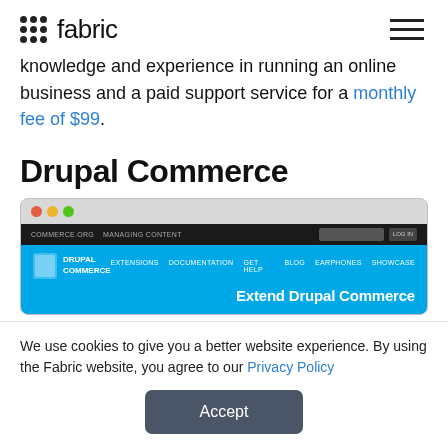fabric (logo with dots)
knowledge and experience in running an online business and a paid support service for a monthly fee of $99.
Drupal Commerce
[Figure (screenshot): Screenshot of Drupal Commerce website showing the 'Extend Drupal Commerce' hero section with a blue background, navigation bar, and Drupal Commerce logo.]
We use cookies to give you a better website experience. By using the Fabric website, you agree to our Privacy Policy
Accept